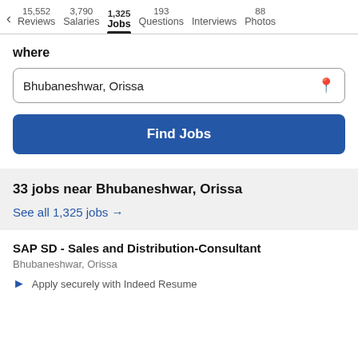< 15,552 Reviews  3,790 Salaries  1,325 Jobs  193 Questions  Interviews  88 Photos
where
Bhubaneshwar, Orissa
Find Jobs
33 jobs near Bhubaneshwar, Orissa
See all 1,325 jobs →
SAP SD - Sales and Distribution-Consultant
Bhubaneshwar, Orissa
Apply securely with Indeed Resume